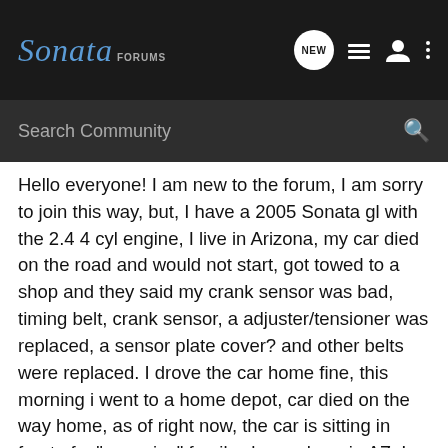Sonata FORUMS
Search Community
Hello everyone! I am new to the forum, I am sorry to join this way, but, I have a 2005 Sonata gl with the 2.4 4 cyl engine, I live in Arizona, my car died on the road and would not start, got towed to a shop and they said my crank sensor was bad, timing belt, crank sensor, a adjuster/tensioner was replaced, a sensor plate cover? and other belts were replaced. I drove the car home fine, this morning i went to a home depot, car died on the way home, as of right now, the car is sitting in front of a "very nice" familys house here in AZ, I told the home owners what I had just gone through with the repair, they are super awesome to let me leave it there on 9-11-11, I had the car back in less than 23 hours, same thing as it went in for, I am completely pissed off with the shop, I told them on the phone, i thought it was the fuel pump, turned a corner and started to accelerate, it coughed hard, then sputtered, it would barely start again, They